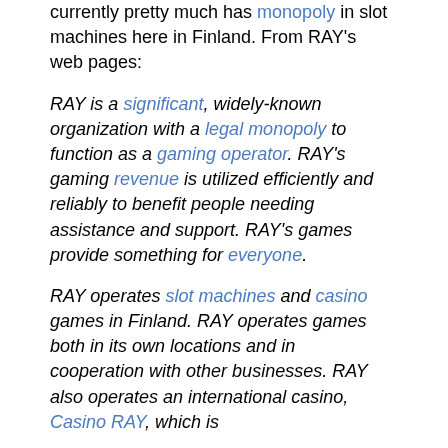currently pretty much has monopoly in slot machines here in Finland. From RAY's web pages:
RAY is a significant, widely-known organization with a legal monopoly to function as a gaming operator. RAY's gaming revenue is utilized efficiently and reliably to benefit people needing assistance and support. RAY's games provide something for everyone.
RAY operates slot machines and casino games in Finland. RAY operates games both in its own locations and in cooperation with other businesses. RAY also operates an international casino, Casino RAY, which is